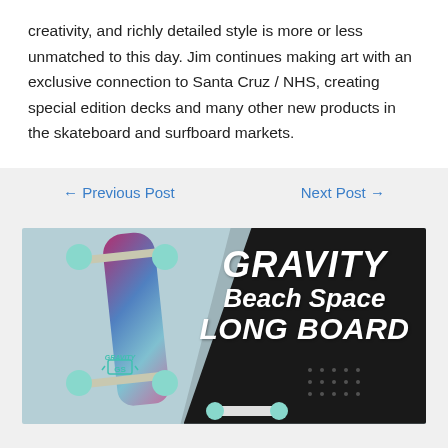creativity, and richly detailed style is more or less unmatched to this day. Jim continues making art with an exclusive connection to Santa Cruz / NHS, creating special edition decks and many other new products in the skateboard and surfboard markets.
← Previous Post
Next Post →
[Figure (photo): Gravity Beach Space Long Board advertisement image showing a colorful longboard skateboard with teal wheels against a half light blue, half dark splash background with large bold italic white text reading GRAVITY Beach Space LONG BOARD]